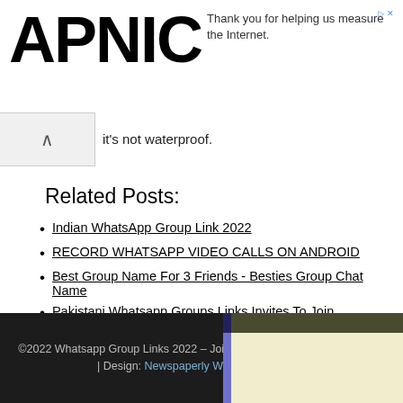APNIC | Thank you for helping us measure the Internet.
it's not waterproof.
Related Posts:
Indian WhatsApp Group Link 2022
RECORD WHATSAPP VIDEO CALLS ON ANDROID
Best Group Name For 3 Friends - Besties Group Chat Name
Pakistani Whatsapp Groups Links Invites To Join
Adults Whatsapp Groups 18 plus, 18+ Whatsapp Groups Links
How Can I Check if I Have Been Blocked on WhatsApp?
©2022 Whatsapp Group Links 2022 – Join WhatsApp Groups Invite Links | Design: Newspaperly WordPress Theme